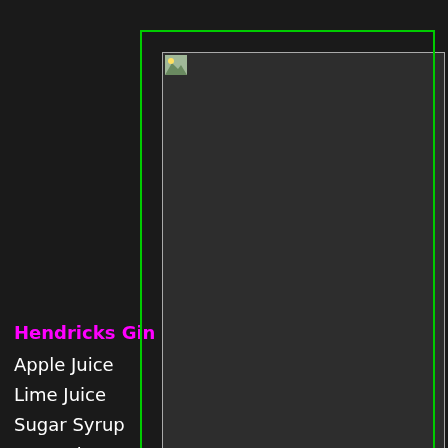[Figure (photo): Large dark image area with green border and white/grey inner border, image appears broken/not loaded. Dark background.]
Hendricks Gin    2 parts
Apple Juice    2 parts
Lime Juice    2 parts
Sugar Syrup    "Drizzle"
Cucumber    (3-4 cut pieces)